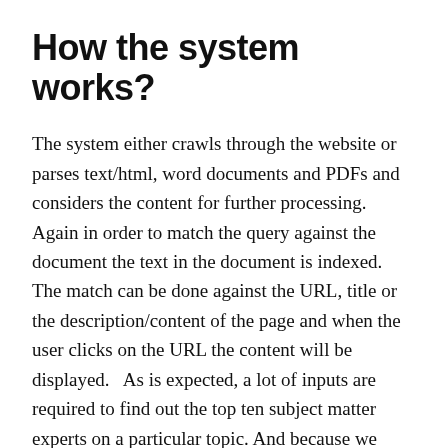How the system works?
The system either crawls through the website or parses text/html, word documents and PDFs and considers the content for further processing. Again in order to match the query against the document the text in the document is indexed. The match can be done against the URL, title or the description/content of the page and when the user clicks on the URL the content will be displayed.   As is expected, a lot of inputs are required to find out the top ten subject matter experts on a particular topic. And because we have too many inputs it becomes imperative to decide which among these inputs are primary and which ones are secondary. The primary inputs help in choosing the top 10 people and thereafter, the primary and secondary inputs both are used to rank them. The secondary inputs don't have a role to play until the top helpful persons have been